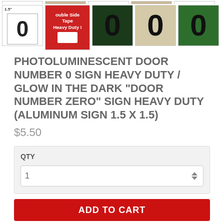[Figure (photo): Row of product thumbnail images showing door number 0 signs in various styles]
PHOTOLUMINESCENT DOOR NUMBER 0 SIGN HEAVY DUTY / GLOW IN THE DARK "DOOR NUMBER ZERO" SIGN HEAVY DUTY (ALUMINUM SIGN 1.5 X 1.5)
$5.50
QTY
1
ADD TO CART